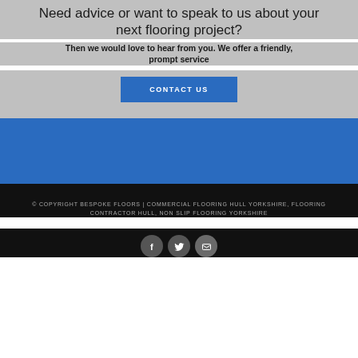Need advice or want to speak to us about your next flooring project?
Then we would love to hear from you. We offer a friendly, prompt service
CONTACT US
[Figure (other): Blue banner section divider]
© COPYRIGHT BESPOKE FLOORS | COMMERCIAL FLOORING HULL YORKSHIRE, FLOORING CONTRACTOR HULL, NON SLIP FLOORING YORKSHIRE
[Figure (other): Three social media icon circles: Facebook, Twitter, Email]